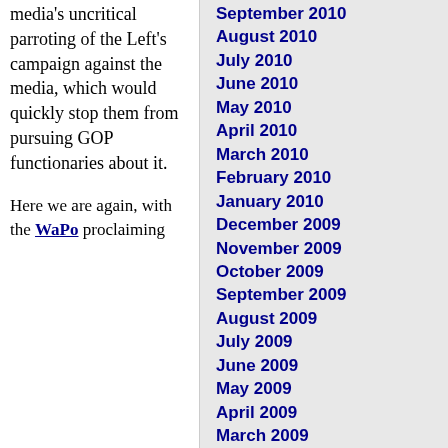media's uncritical parroting of the Left's campaign against the media, which would quickly stop them from pursuing GOP functionaries about it.
Here we are again, with the WaPo proclaiming
September 2010
August 2010
July 2010
June 2010
May 2010
April 2010
March 2010
February 2010
January 2010
December 2009
November 2009
October 2009
September 2009
August 2009
July 2009
June 2009
May 2009
April 2009
March 2009
February 2009
January 2009
December 2008
November 2008
October 2008
September 2008
August 2008
July 2008
June 2008
May 2008
April 2008
March 2008
February 2008